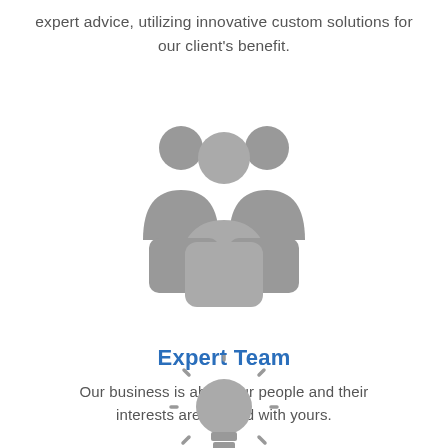expert advice, utilizing innovative custom solutions for our client's benefit.
[Figure (illustration): Gray icon of three people (team/group) standing together]
Expert Team
Our business is about our people and their interests are aligned with yours.
[Figure (illustration): Gray lightbulb icon with rays suggesting illumination/ideas]